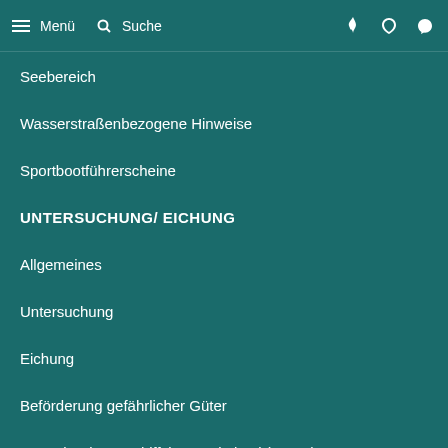Menü  Suche
Seebereich
Wasserstraßenbezogene Hinweise
Sportbootführerscheine
UNTERSUCHUNG/ EICHUNG
Allgemeines
Untersuchung
Eichung
Beförderung gefährlicher Güter
Zentrale Binnenschiffsbestandsdatei (ZBBD)
SCHIFFFAHRTSRECHT